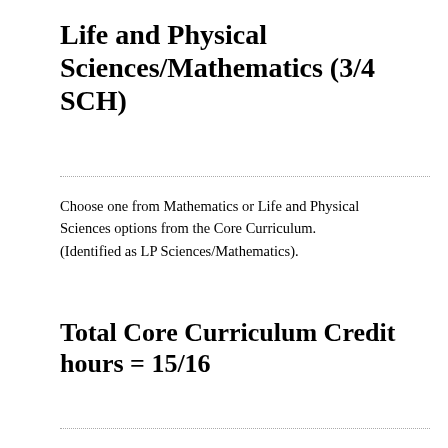Life and Physical Sciences/Mathematics (3/4 SCH)
Choose one from Mathematics or Life and Physical Sciences options from the Core Curriculum. (Identified as LP Sciences/Mathematics).
Total Core Curriculum Credit hours = 15/16